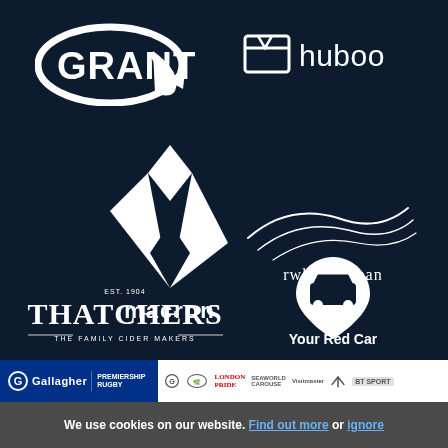[Figure (logo): Grant logo - white elliptical G shape on dark navy background]
[Figure (logo): Huboo logo - white box icon with text 'huboo']
[Figure (logo): Macron logo - white geometric bird/chevron shape above text 'macron']
[Figure (logo): rwk goodman logo - white flowing lines above text 'rwk goodman']
[Figure (logo): Thatchers - The Family Cider Makers logo in white serif text]
[Figure (logo): Your Red Car logo - white map pin with car icon, text 'Your Red Car']
[Figure (infographic): Gallagher Premiership Rugby sponsor bar with partner logos]
We use cookies on our website. Find out more or ignore